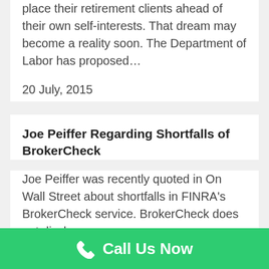place their retirement clients ahead of their own self-interests. That dream may become a reality soon. The Department of Labor has proposed…
20 July, 2015
Joe Peiffer Regarding Shortfalls of BrokerCheck
Joe Peiffer was recently quoted in On Wall Street about shortfalls in FINRA's BrokerCheck service. BrokerCheck does not disclose
Call Us Now